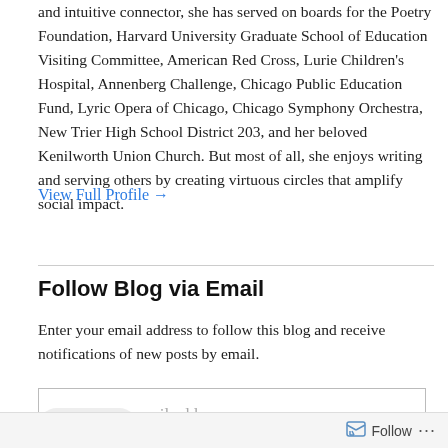and intuitive connector, she has served on boards for the Poetry Foundation, Harvard University Graduate School of Education Visiting Committee, American Red Cross, Lurie Children's Hospital, Annenberg Challenge, Chicago Public Education Fund, Lyric Opera of Chicago, Chicago Symphony Orchestra, New Trier High School District 203, and her beloved Kenilworth Union Church. But most of all, she enjoys writing and serving others by creating virtuous circles that amplify social impact.
View Full Profile →
Follow Blog via Email
Enter your email address to follow this blog and receive notifications of new posts by email.
Enter your email address
Follow